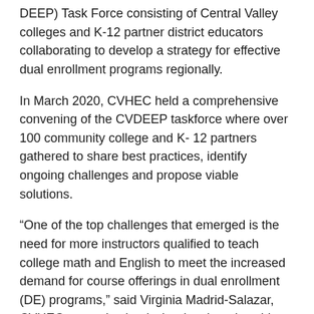DEEP) Task Force consisting of Central Valley colleges and K-12 partner district educators collaborating to develop a strategy for effective dual enrollment programs regionally.
In March 2020, CVHEC held a comprehensive convening of the CVDEEP taskforce where over 100 community college and K- 12 partners gathered to share best practices, identify ongoing challenges and propose viable solutions.
“One of the top challenges that emerged is the need for more instructors qualified to teach college math and English to meet the increased demand for course offerings in dual enrollment (DE) programs,” said Virginia Madrid-Salazar, CVHEC strategies lead who developed a white paper documenting the organization’s DE initiatives and providing the foundation for the master’s attainment program proposal: “Dual Enrollment in the Central Valley: Working Toward a Unified Approach for